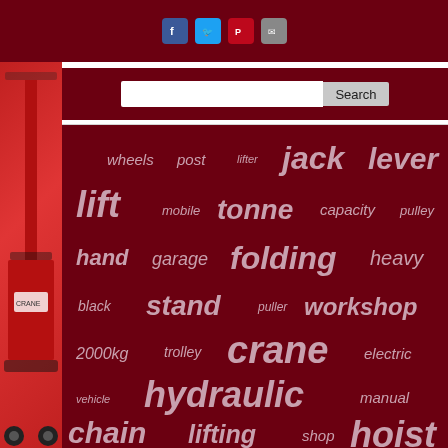[Figure (infographic): Dark red header bar with Facebook, Twitter, Pinterest, and email social share icon buttons]
[Figure (infographic): Search bar with text input and Search button on dark red background]
[Figure (infographic): Tag cloud on dark red background with words: wheels, post, lifter, jack, lever, lift, mobile, tonne, capacity, pulley, hand, garage, folding, heavy, black, stand, puller, workshop, 2000kg, trolley, crane, electric, vehicle, hydraulic, manual, chain, lifting, shop, hoist, tool, harrington, engine, block, duty, ratchet]
[Figure (photo): Red folding engine crane / shop crane on the left side of the page]